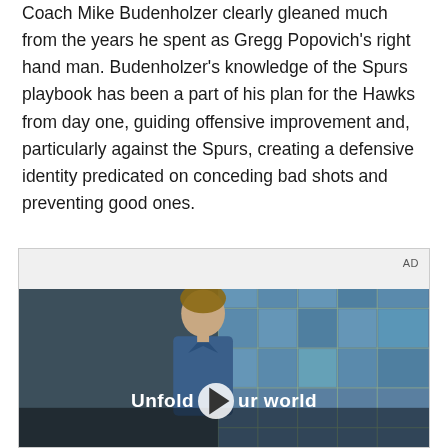Coach Mike Budenholzer clearly gleaned much from the years he spent as Gregg Popovich's right hand man. Budenholzer's knowledge of the Spurs playbook has been a part of his plan for the Hawks from day one, guiding offensive improvement and, particularly against the Spurs, creating a defensive identity predicated on conceding bad shots and preventing good ones.
[Figure (screenshot): Advertisement box with 'AD' label in top right. Below is a video player showing a young man in a denim jacket standing in front of a blue tiled wall. The video overlay text reads 'Unfold your world' with a play button in the center.]